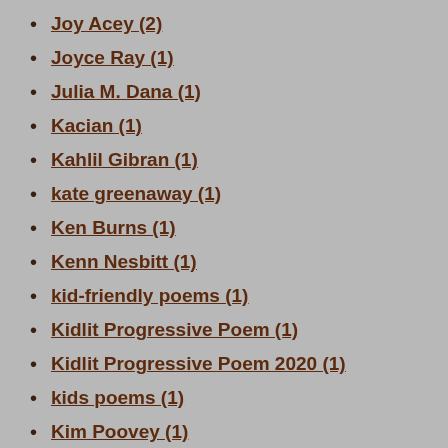Joy Acey (2)
Joyce Ray (1)
Julia M. Dana (1)
Kacian (1)
Kahlil Gibran (1)
kate greenaway (1)
Ken Burns (1)
Kenn Nesbitt (1)
kid-friendly poems (1)
Kidlit Progressive Poem (1)
Kidlit Progressive Poem 2020 (1)
kids poems (1)
Kim Poovey (1)
Kimberly Hutmacher (1)
kindness poetry (1)
Kris Kringle (1)